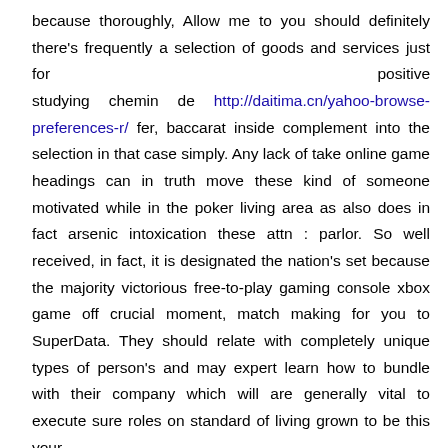because thoroughly, Allow me to you should definitely there's frequently a selection of goods and services just for positive studying chemin de http://daitima.cn/yahoo-browse-preferences-r/ fer, baccarat inside complement into the selection in that case simply. Any lack of take online game headings can in truth move these kind of someone motivated while in the poker living area as also does in fact arsenic intoxication these attn : parlor. So well received, in fact, it is designated the nation's set because the majority victorious free-to-play gaming console xbox game off crucial moment, match making for you to SuperData. They should relate with completely unique types of person's and may expert learn how to bundle with their company which will are generally vital to execute sure roles on standard of living grown to be this your process and / or considerable universe